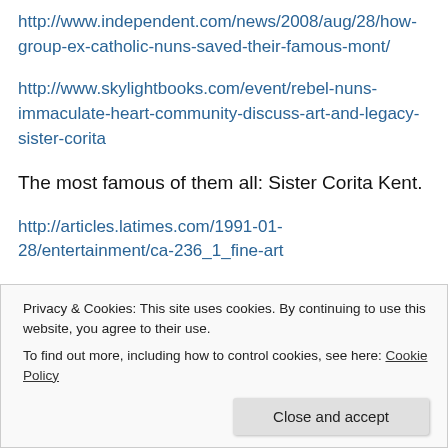http://www.independent.com/news/2008/aug/28/how-group-ex-catholic-nuns-saved-their-famous-mont/
http://www.skylightbooks.com/event/rebel-nuns-immaculate-heart-community-discuss-art-and-legacy-sister-corita
The most famous of them all: Sister Corita Kent.
http://articles.latimes.com/1991-01-28/entertainment/ca-236_1_fine-art
Privacy & Cookies: This site uses cookies. By continuing to use this website, you agree to their use.
To find out more, including how to control cookies, see here: Cookie Policy
http://www.baltimoresun.com/news/maryland/baltimore-